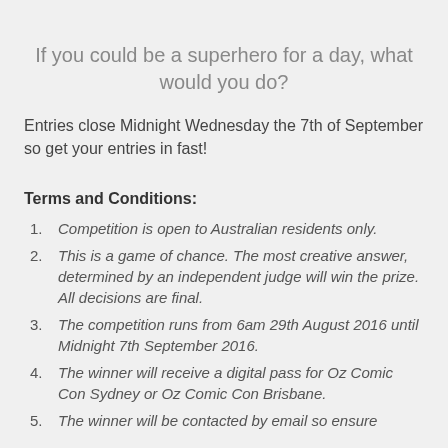If you could be a superhero for a day, what would you do?
Entries close Midnight Wednesday the 7th of September so get your entries in fast!
Terms and Conditions:
Competition is open to Australian residents only.
This is a game of chance. The most creative answer, determined by an independent judge will win the prize. All decisions are final.
The competition runs from 6am 29th August 2016 until Midnight 7th September 2016.
The winner will receive a digital pass for Oz Comic Con Sydney or Oz Comic Con Brisbane.
The winner will be contacted by email so ensure